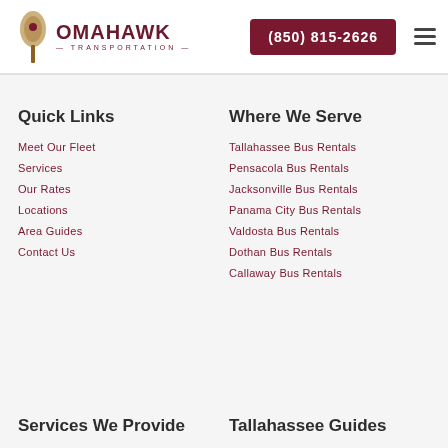[Figure (logo): Tomahawk Transportation logo with tomahawk axe icon and text]
(850) 815-2626
Quick Links
Meet Our Fleet
Services
Our Rates
Locations
Area Guides
Contact Us
Where We Serve
Tallahassee Bus Rentals
Pensacola Bus Rentals
Jacksonville Bus Rentals
Panama City Bus Rentals
Valdosta Bus Rentals
Dothan Bus Rentals
Callaway Bus Rentals
Services We Provide
Tallahassee Guides